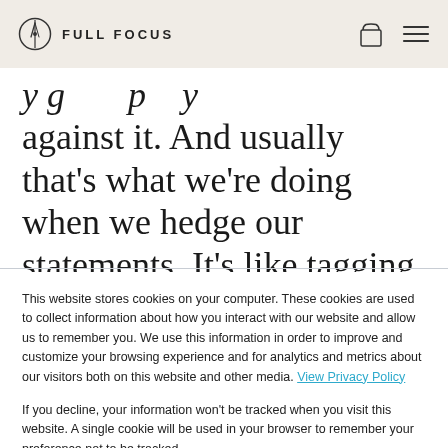FULL FOCUS
against it. And usually that's what we're doing when we hedge our statements. It's like tagging our statements
This website stores cookies on your computer. These cookies are used to collect information about how you interact with our website and allow us to remember you. We use this information in order to improve and customize your browsing experience and for analytics and metrics about our visitors both on this website and other media. View Privacy Policy
If you decline, your information won't be tracked when you visit this website. A single cookie will be used in your browser to remember your preference not to be tracked.